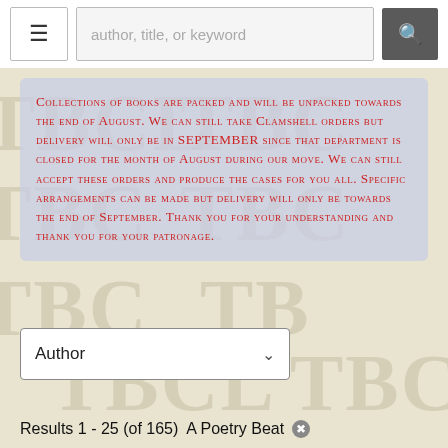author, title, or keyword
Collections of books are packed and will be unpacked towards the end of August. We can still take Clamshell orders but delivery will only be in SEPTEMBER since that department is closed for the month of August during our move. We can still accept these orders and produce the cases for you all. Specific arrangements can be made but delivery will only be towards the end of September. Thank you for your understanding and thank you for your patronage.
Author
Results 1 - 25 (of 165)  A Poetry Beat